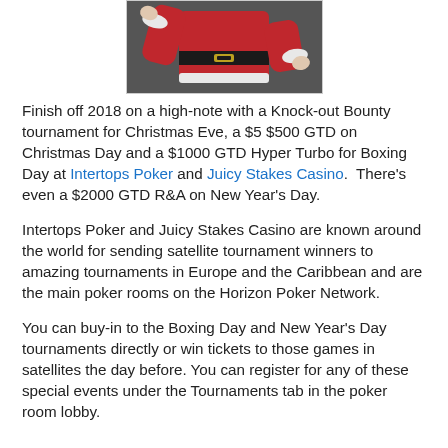[Figure (photo): Photo of a person in a Santa Claus costume (red suit, black belt) with arms raised, cropped to torso/mid-section]
Finish off 2018 on a high-note with a Knock-out Bounty tournament for Christmas Eve, a $5 $500 GTD on Christmas Day and a $1000 GTD Hyper Turbo for Boxing Day at Intertops Poker and Juicy Stakes Casino.  There's even a $2000 GTD R&A on New Year's Day.
Intertops Poker and Juicy Stakes Casino are known around the world for sending satellite tournament winners to amazing tournaments in Europe and the Caribbean and are the main poker rooms on the Horizon Poker Network.
You can buy-in to the Boxing Day and New Year's Day tournaments directly or win tickets to those games in satellites the day before. You can register for any of these special events under the Tournaments tab in the poker room lobby.